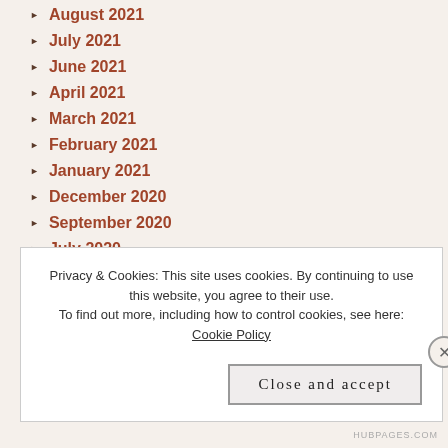August 2021
July 2021
June 2021
April 2021
March 2021
February 2021
January 2021
December 2020
September 2020
July 2020
June 2020
May 2020
Privacy & Cookies: This site uses cookies. By continuing to use this website, you agree to their use.
To find out more, including how to control cookies, see here: Cookie Policy
Close and accept